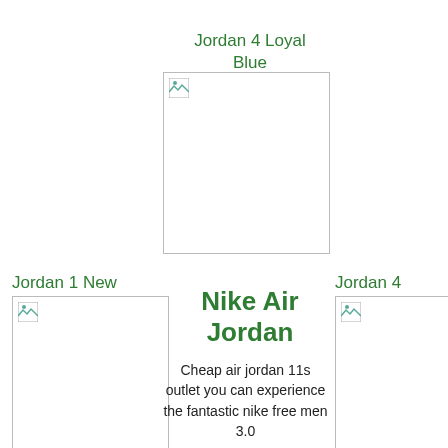Jordan 4 Loyal Blue
[Figure (photo): Product image placeholder for Jordan 4 Loyal Blue sneaker]
Jordan 1 New
[Figure (photo): Product image placeholder for Jordan 1 New sneaker]
Nike Air Jordan
Cheap air jordan 11s outlet you can experience the fantastic nike free men 3.0
Jordan 4 Japan
[Figure (photo): Product image placeholder for Jordan 4 Japan sneaker]